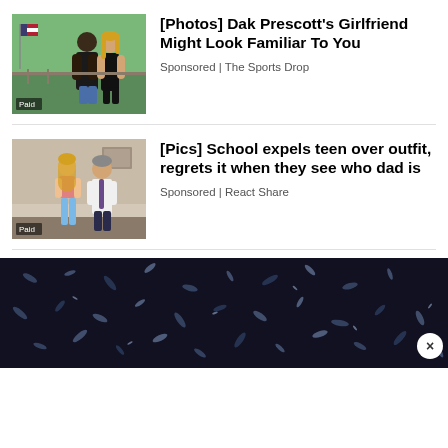[Figure (photo): Photo of Dak Prescott and his girlfriend standing together outdoors, with an American flag in background. 'Paid' label in bottom left.]
[Photos] Dak Prescott's Girlfriend Might Look Familiar To You
Sponsored | The Sports Drop
[Figure (photo): Photo of a teenage girl and an older man standing indoors. 'Paid' label in bottom left.]
[Pics] School expels teen over outfit, regrets it when they see who dad is
Sponsored | React Share
[Figure (photo): Close-up dark image of what appears to be shiny dark seeds or grains on a dark background, with an X/close button at bottom right.]